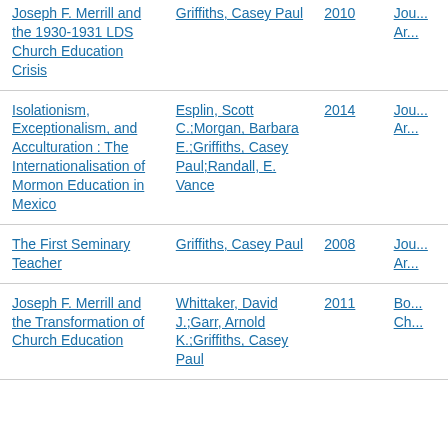| Title | Author | Year | Source |
| --- | --- | --- | --- |
| Joseph F. Merrill and the 1930-1931 LDS Church Education Crisis | Griffiths, Casey Paul | 2010 | Jou... Ar... |
| Isolationism, Exceptionalism, and Acculturation : The Internationalisation of Mormon Education in Mexico | Esplin, Scott C.;Morgan, Barbara E.;Griffiths, Casey Paul;Randall, E. Vance | 2014 | Jou... Ar... |
| The First Seminary Teacher | Griffiths, Casey Paul | 2008 | Jou... Ar... |
| Joseph F. Merrill and the Transformation of Church Education | Whittaker, David J.;Garr, Arnold K.;Griffiths, Casey Paul | 2011 | Bo... Ch... |